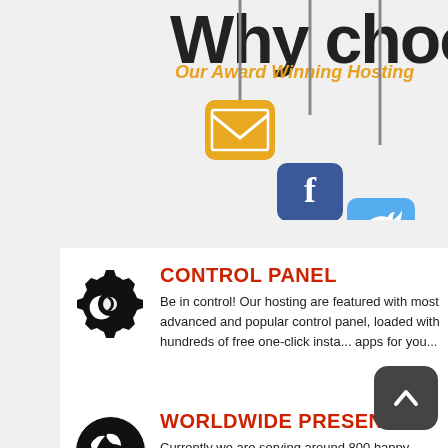Why choose...
Our Award Winning Hosting
[Figure (illustration): Three hanging social media icons: email (gold), Facebook (dark blue), Twitter (light blue)]
CONTROL PANEL
Be in control! Our hosting are featured with most advanced and popular control panel, loaded with hundreds of free one-click insta... apps for you...
WORLDWIDE PRESENCE
Currently we are serving around 800 happy clients and resellers around the words. We h... multiple hosting locations in the ... UK... Rest assured no matter where you... audience is, we are your hosting provider.